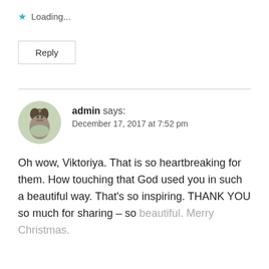★ Loading...
Reply
admin says: December 17, 2017 at 7:52 pm
Oh wow, Viktoriya. That is so heartbreaking for them. How touching that God used you in such a beautiful way. That's so inspiring. THANK YOU so much for sharing – so beautiful. Merry Christmas.